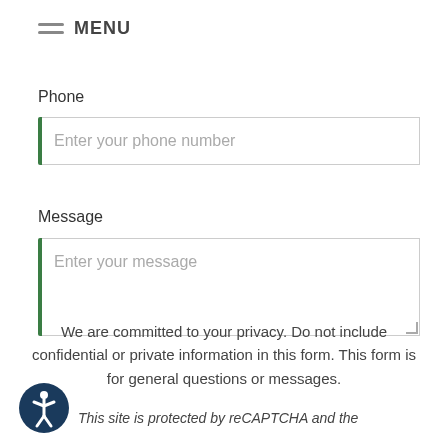MENU
Phone
Enter your phone number
Message
Enter your message
We are committed to your privacy. Do not include confidential or private information in this form. This form is for general questions or messages.
This site is protected by reCAPTCHA and the